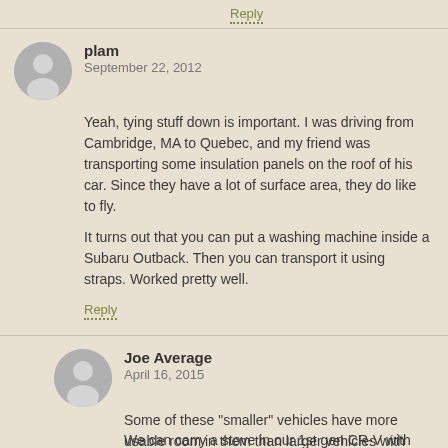Reply
plam
September 22, 2012
Yeah, tying stuff down is important. I was driving from Cambridge, MA to Quebec, and my friend was transporting some insulation panels on the roof of his car. Since they have a lot of surface area, they do like to fly.

It turns out that you can put a washing machine inside a Subaru Outback. Then you can transport it using straps. Worked pretty well.
Reply
Joe Average
April 16, 2015
Some of these "smaller" vehicles have more usable room in them than larger vehicles with humps nad bumps and think interior panels causing obstructions.

We can carry a stove in our 1st gen CR-V with